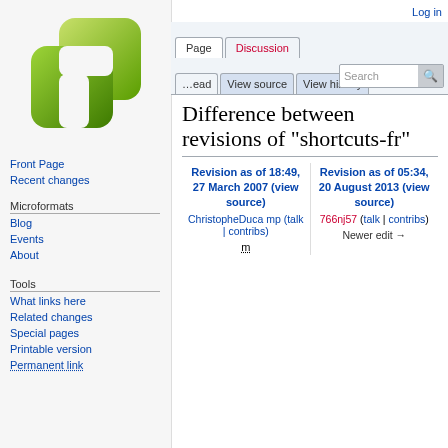[Figure (logo): Microformats wiki logo — green overlapping rounded squares]
Log in
Page | Discussion | View source | View history | Search
Difference between revisions of "shortcuts-fr"
Revision as of 18:49, 27 March 2007 (view source)
ChristopheDucamp (talk | contribs)
m

Revision as of 05:34, 20 August 2013 (view source)
766nj57 (talk | contribs)
Newer edit →
Front Page
Recent changes
Microformats
Blog
Events
About
Tools
What links here
Related changes
Special pages
Printable version
Permanent link